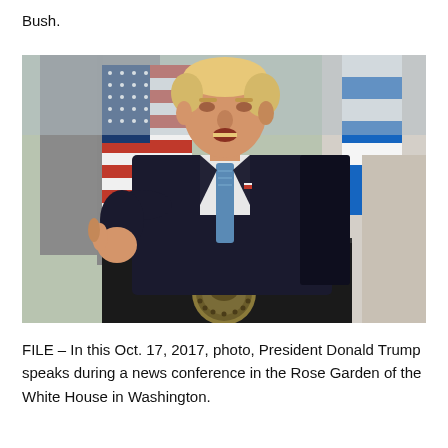Bush.
[Figure (photo): President Donald Trump speaking at a podium with the Presidential seal during a news conference in the Rose Garden of the White House. An American flag and another flag are visible in the background.]
FILE – In this Oct. 17, 2017, photo, President Donald Trump speaks during a news conference in the Rose Garden of the White House in Washington.